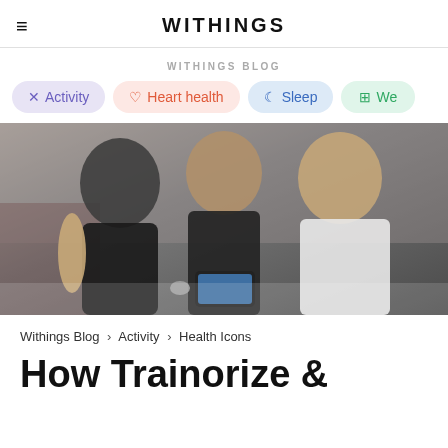WITHINGS
WITHINGS BLOG
Activity
Heart health
Sleep
We…
[Figure (photo): Three men in a gym looking at a smartphone together. The man on the left wears a black Nike sleeveless shirt, the man in the middle wears a black fitted shirt, and the man on the right wears a white polo shirt.]
Withings Blog > Activity > Health Icons
How Trainorize &